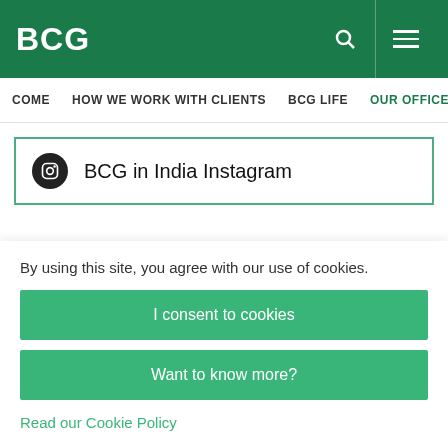BCG
COME  HOW WE WORK WITH CLIENTS  BCG LIFE  OUR OFFICES
BCG in India Instagram
CHENNAI OFFICE ADDRESS
By using this site, you agree with our use of cookies.
I consent to cookies
Want to know more?
Read our Cookie Policy